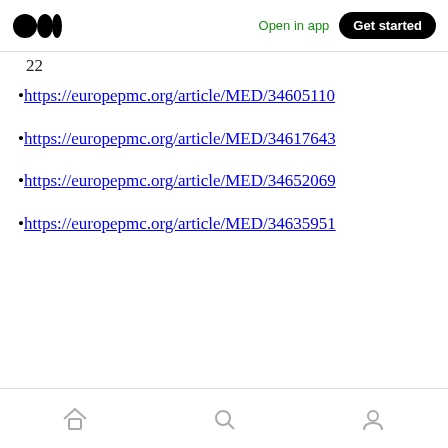Medium logo | Open in app | Get started
https://europepmc.org/article/MED/34605110
https://europepmc.org/article/MED/34617643
https://europepmc.org/article/MED/34652069
https://europepmc.org/article/MED/34635951
Home | Search | Profile